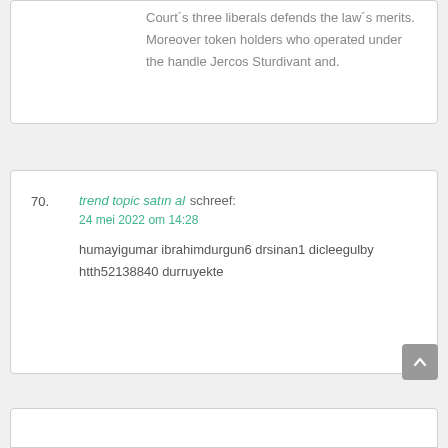Court´s three liberals defends the law´s merits. Moreover token holders who operated under the handle Jercos Sturdivant and.
70. trend topic satın al schreef: 24 mei 2022 om 14:28 — humayigumar ibrahimdurgun6 drsinan1 dicleegulby htth52138840 durruyekte